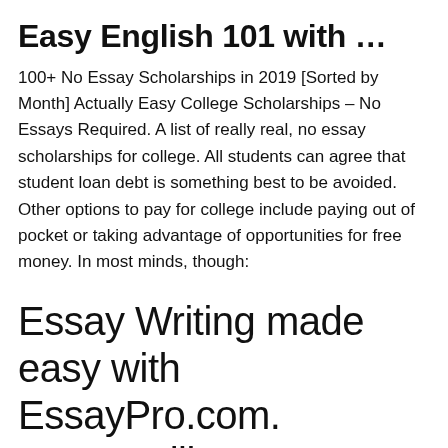Easy English 101 with …
100+ No Essay Scholarships in 2019 [Sorted by Month] Actually Easy College Scholarships – No Essays Required. A list of really real, no essay scholarships for college. All students can agree that student loan debt is something best to be avoided. Other options to pay for college include paying out of pocket or taking advantage of opportunities for free money. In most minds, though:
Essay Writing made easy with EssayPro.com. 142,718 likes · 242 talking about this. We are a writing platform that helps students with their educational